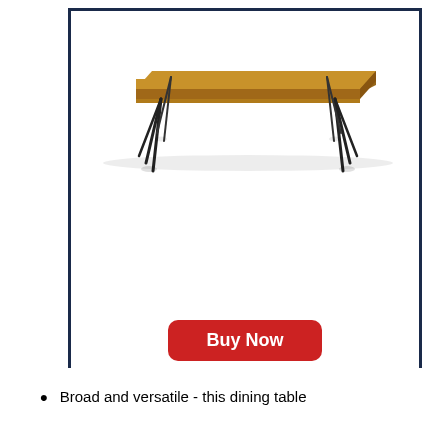[Figure (photo): A rectangular wooden dining table with a natural brown wood top and black hairpin metal legs, shown on a white background.]
Buy Now
Broad and versatile - this dining table